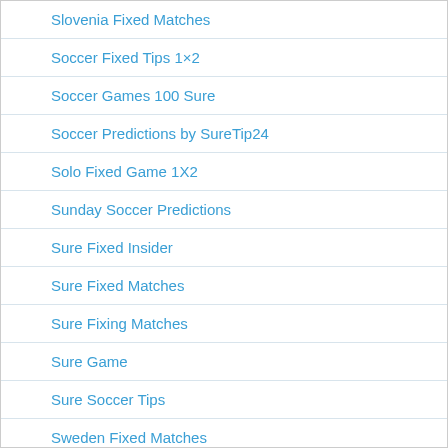Slovenia Fixed Matches
Soccer Fixed Tips 1×2
Soccer Games 100 Sure
Soccer Predictions by SureTip24
Solo Fixed Game 1X2
Sunday Soccer Predictions
Sure Fixed Insider
Sure Fixed Matches
Sure Fixing Matches
Sure Game
Sure Soccer Tips
Sweden Fixed Matches
Swiss Bet Fixed Matches
Today Fixed Matches
True Score Insider